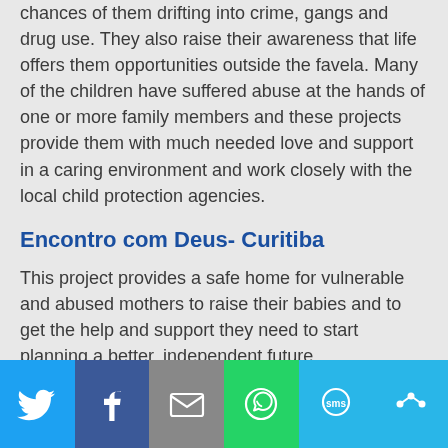chances of them drifting into crime, gangs and drug use. They also raise their awareness that life offers them opportunities outside the favela. Many of the children have suffered abuse at the hands of one or more family members and these projects provide them with much needed love and support in a caring environment and work closely with the local child protection agencies.
Encontro com Deus- Curitiba
This project provides a safe home for vulnerable and abused mothers to raise their babies and to get the help and support they need to start planning a better, independent future.
[Figure (infographic): Social media share bar with six icons: Twitter (blue), Facebook (dark blue), Email (grey), WhatsApp (green), SMS (light blue), More (light blue)]